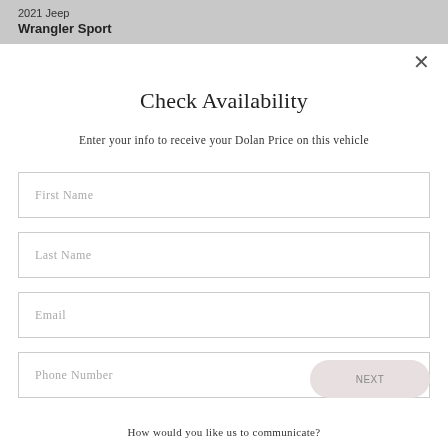2021 Jeep
Wrangler Sport
Check Availability
Enter your info to receive your Dolan Price on this vehicle
First Name
Last Name
Email
Phone Number
How would you like us to communicate?